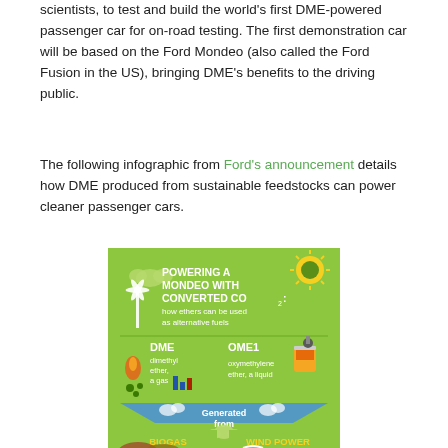scientists, to test and build the world's first DME-powered passenger car for on-road testing. The first demonstration car will be based on the Ford Mondeo (also called the Ford Fusion in the US), bringing DME's benefits to the driving public.
The following infographic from Ford's announcement details how DME produced from sustainable feedstocks can power cleaner passenger cars.
[Figure (infographic): Infographic titled 'POWERING A MONDEO WITH CONVERTED CO2: how ethers can be used as alternative fuels'. Shows DME (dimethyl ether, a gas) and OME1 (oxymethylene ether, a liquid) with icons. Below shows 'Generated from' pointing to BIOGAS and WIND POWER sections with relevant icons on a green background.]